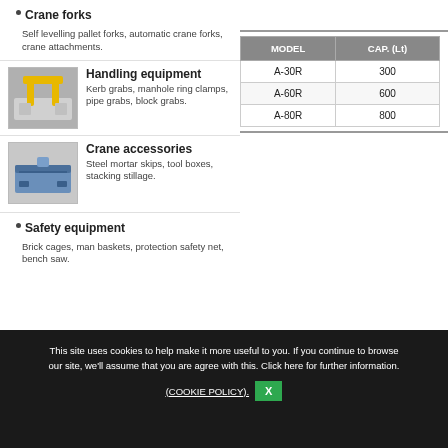Crane forks
Self levelling pallet forks, automatic crane forks, crane attachments.
[Figure (photo): Handling equipment photo showing yellow clamp device on concrete blocks]
Handling equipment
Kerb grabs, manhole ring clamps, pipe grabs, block grabs.
[Figure (photo): Crane accessories photo showing blue steel mortar skip / tool box]
Crane accessories
Steel mortar skips, tool boxes, stacking stillage.
| MODEL | CAP. (Lt) |
| --- | --- |
| A-30R | 300 |
| A-60R | 600 |
| A-80R | 800 |
Safety equipment
Brick cages, man baskets, protection safety net, bench saw.
This site uses cookies to help make it more useful to you. If you continue to browse our site, we'll assume that you are agree with this. Click here for further information. (COOKIE POLICY).